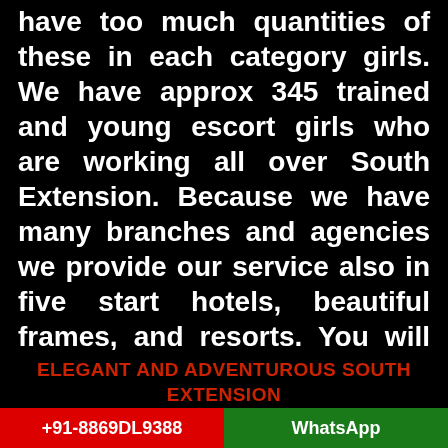have too much quantities of these in each category girls. We have approx 345 trained and young escort girls who are working all over South Extension. Because we have many branches and agencies we provide our service also in five start hotels, beautiful frames, and resorts. You will definitely experience it here more better and comfortable compared to other agencies. So these kinds of beauty and talent you can not get anywhere.
ELEGANT AND ADVENTUROUS SOUTH EXTENSION ESCORT GIRLS ENJOY YOUR SENSUOUS LIFE
+91-8869DL9388
WhatsApp